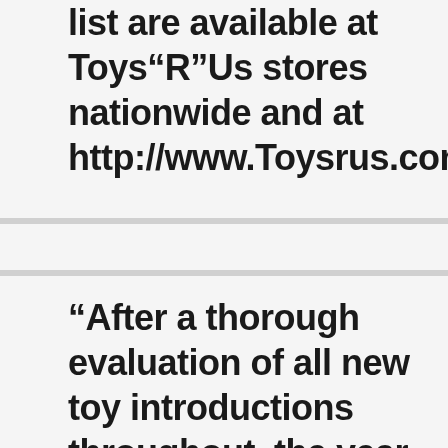list are available at Toys"R"Us stores nationwide and at http://www.Toysrus.com/HotToys
“After a thorough evaluation of all new toy introductions throughout the year, and consultations with our global merchandising team in 34